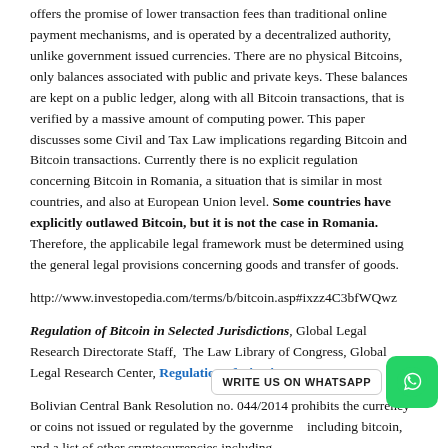offers the promise of lower transaction fees than traditional online payment mechanisms, and is operated by a decentralized authority, unlike government issued currencies. There are no physical Bitcoins, only balances associated with public and private keys. These balances are kept on a public ledger, along with all Bitcoin transactions, that is verified by a massive amount of computing power. This paper discusses some Civil and Tax Law implications regarding Bitcoin and Bitcoin transactions. Currently there is no explicit regulation concerning Bitcoin in Romania, a situation that is similar in most countries, and also at European Union level. Some countries have explicitly outlawed Bitcoin, but it is not the case in Romania. Therefore, the applicabile legal framework must be determined using the general legal provisions concerning goods and transfer of goods.
http://www.investopedia.com/terms/b/bitcoin.asp#ixzz4C3bfWQwz
Regulation of Bitcoin in Selected Jurisdictions, Global Legal Research Directorate Staff, The Law Library of Congress, Global Legal Research Center, Regulation of Bitcoin P
Bolivian Central Bank Resolution no. 044/2014 prohibits the currency or coins not issued or regulated by the government including bitcoin, and a list of other cryptocurrencies including